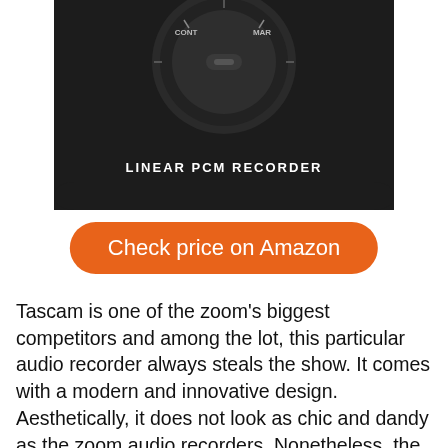[Figure (photo): Close-up photo of a black Tascam Linear PCM Recorder showing the top dial controls and the text 'LINEAR PCM RECORDER' on the body]
Check price on Amazon
Tascam is one of the zoom's biggest competitors and among the lot, this particular audio recorder always steals the show. It comes with a modern and innovative design. Aesthetically, it does not look as chic and dandy as the zoom audio recorders. Nonetheless, the interface provides better controls. This Tascam recorder comes with 4 GB SD card in its package, but if the user pleases, the memory can be expanded up to